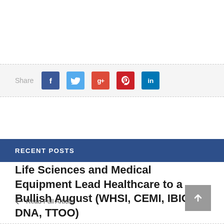[Figure (infographic): Social share bar with Facebook, Twitter, Google+, Pinterest, and LinkedIn buttons]
RECENT POSTS
Life Sciences and Medical Equipment Lead Healthcare to a Bullish August (WHSI, CEMI, IBIO, DNA, TTOO)
Read Full Article